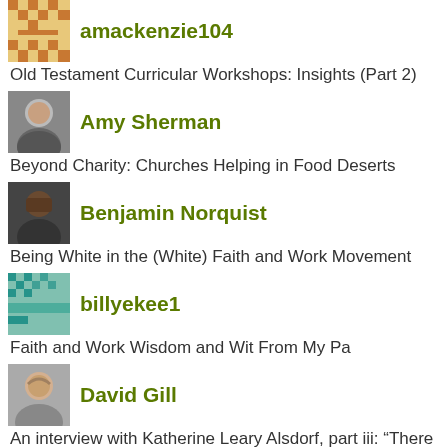amackenzie104 — Old Testament Curricular Workshops: Insights (Part 2)
Amy Sherman — Beyond Charity: Churches Helping in Food Deserts
Benjamin Norquist — Being White in the (White) Faith and Work Movement
billyekee1 — Faith and Work Wisdom and Wit From My Pa
David Gill — An interview with Katherine Leary Alsdorf, part iii: “There is no one-size-fits-all template”
Brandon Vaidyanathan — Missionaries in a Mercenary World: The Fusion of Faith and Work
Case Thorp — Rethinking Pastoral Care Through the Lens of Whole Life Discipleship
Christine Tan